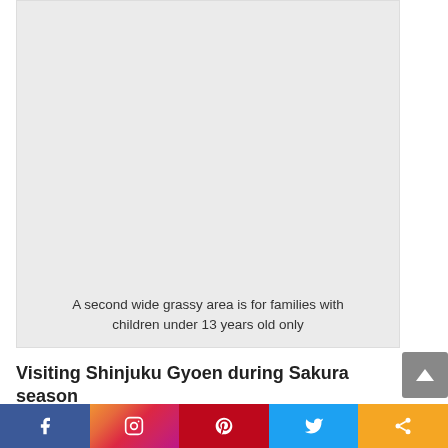[Figure (photo): A wide grassy area in Shinjuku Gyoen, shown as a light gray placeholder image]
A second wide grassy area is for families with children under 13 years old only
Visiting Shinjuku Gyoen during Sakura season
Beware the lines to get in to Shinjuku Gyoen during sakura season are truly outrageous. If you're not a fan of crowds, it might be best to visit in the morning on a weekday, or visit in the off-